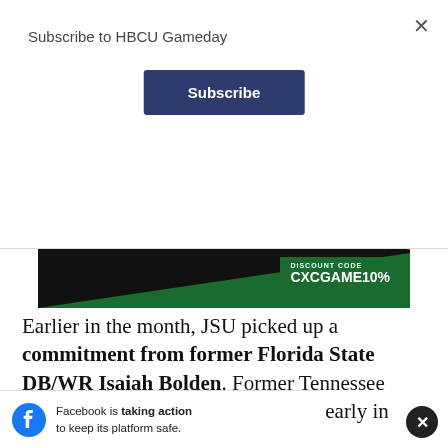Subscribe to HBCU Gameday
Subscribe
[Figure (illustration): HBCU Gameday x Cross Colours advertisement banner showing 10% OFF discount code CXCGAME10% with Cross Colours logo]
Earlier in the month, JSU picked up a commitment from former Florida State DB/WR Isaiah Bolden. Former Tennessee linebacker Nyles Gaddy committed early in November... first ...Mississippi
Facebook is taking action to keep its platform safe.